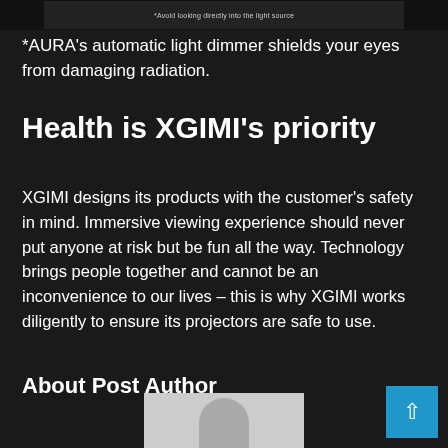[Figure (screenshot): Top portion of a dark-themed webpage showing a warning image with text 'Avoid looking directly into the light source']
*AURA’s automatic light dimmer shields your eyes from damaging radiation.
Health is XGIMI’s priority
XGIMI designs its products with the customer’s safety in mind. Immersive viewing experience should never put anyone at risk but be fun all the way. Technology brings people together and cannot be an inconvenience to our lives – this is why XGIMI works diligently to ensure its projectors are safe to use.
About Post Author
[Figure (photo): Partial avatar/profile photo at the bottom center of the page]